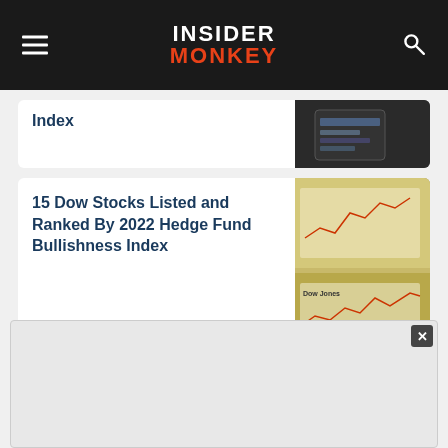INSIDER MONKEY
Index
[Figure (photo): Smartphone showing financial data/stock app on dark desk background]
15 Dow Stocks Listed and Ranked By 2022 Hedge Fund Bullishness Index
[Figure (photo): Dow Jones financial chart papers showing red line graph data]
10 Biggest Utility Companies in the World
[Figure (photo): Power transmission tower silhouette against dusk sky with orange clouds]